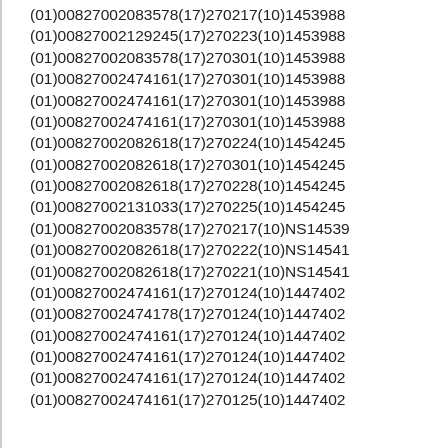(01)00827002083578(17)270217(10)1453988
(01)00827002129245(17)270223(10)1453988
(01)00827002083578(17)270301(10)1453988
(01)00827002474161(17)270301(10)1453988
(01)00827002474161(17)270301(10)1453988
(01)00827002474161(17)270301(10)1453988
(01)00827002082618(17)270224(10)1454245
(01)00827002082618(17)270301(10)1454245
(01)00827002082618(17)270228(10)1454245
(01)00827002131033(17)270225(10)1454245
(01)00827002083578(17)270217(10)NS14539
(01)00827002082618(17)270222(10)NS14541
(01)00827002082618(17)270221(10)NS14541
(01)00827002474161(17)270124(10)1447402
(01)00827002474178(17)270124(10)1447402
(01)00827002474161(17)270124(10)1447402
(01)00827002474161(17)270124(10)1447402
(01)00827002474161(17)270124(10)1447402
(01)00827002474161(17)270125(10)1447402